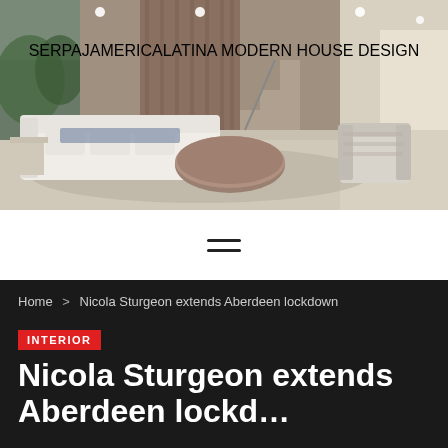[Figure (photo): Interior of a modern living room with white sectional sofa, round wooden coffee table, and open plan space with stairs in the background. Site logo overlay reads SERPAJAMERICALATINA MODERN HOUSE DESIGN in blue bold text.]
SERPAJAMERICALATINA MODERN HOUSE DESIGN
≡ (hamburger menu icon)
Home > Nicola Sturgeon extends Aberdeen lockdown
INTERIOR
Nicola Sturgeon extends Aberdeen lockdown